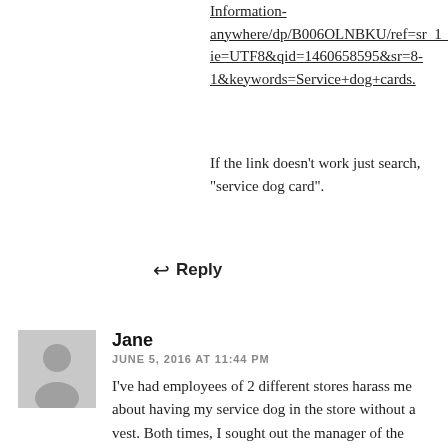Information-anywhere/dp/B006OLNBKU/ref=sr_1_1?ie=UTF8&qid=1460658595&sr=8-1&keywords=Service+dog+cards.
If the link doesn't work just search, "service dog card".
↩ Reply
Jane
JUNE 5, 2016 AT 11:44 PM
I've had employees of 2 different stores harass me about having my service dog in the store without a vest. Both times, I sought out the manager of the store and gave him one of the cards that explains the law regarding service